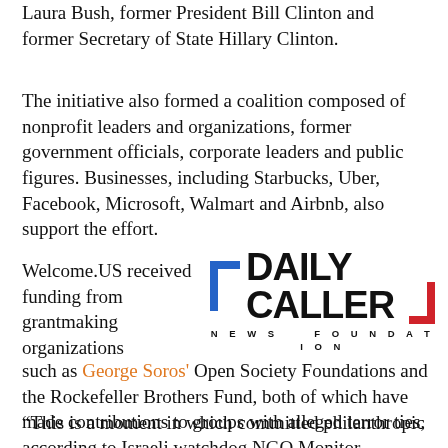Laura Bush, former President Bill Clinton and former Secretary of State Hillary Clinton.
The initiative also formed a coalition composed of nonprofit leaders and organizations, former government officials, corporate leaders and public figures. Businesses, including Starbucks, Uber, Facebook, Microsoft, Walmart and Airbnb, also support the effort.
Welcome.US received funding from grantmaking organizations such as George Soros' Open Society Foundations and the Rockefeller Brothers Fund, both of which have made contributions to groups with alleged terror ties, according to Israeli watchdog NGO Monitor.
[Figure (logo): Daily Caller News Foundation logo with blue left bracket, black bold text 'DAILY CALLER', red right bracket, and 'NEWS FOUNDATION' in spaced small caps below]
“This is a moment in which committed philanthropic